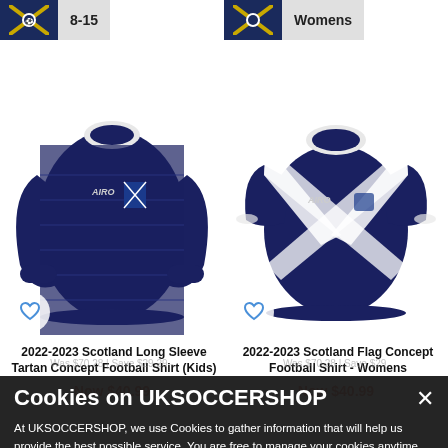[Figure (screenshot): Top banner snippet showing '8-15' badge for kids shirt on left, 'Womens' badge for womens shirt on right]
[Figure (photo): 2022-2023 Scotland Long Sleeve Tartan Concept Football Shirt (Kids) - navy blue long sleeve shirt with Saltire badge and AIRO branding]
[Figure (photo): 2022-2023 Scotland Flag Concept Football Shirt - Womens - navy blue short sleeve shirt with large white Saltire cross pattern and AIRO branding]
2022-2023 Scotland Long Sleeve Tartan Concept Football Shirt (Kids)
2022-2023 Scotland Flag Concept Football Shirt - Womens
Now $40.99
Now $40.99
Was $70.28 | Save $29.29
Was $70.28 | Save $29.
Cookies on UKSOCCERSHOP
At UKSOCCERSHOP, we use Cookies to gather information that will help us provide the best possible service. You are free to manage your cookies anytime from your browser. By using this site you are accepting our Cookie policy and Privacy policy.